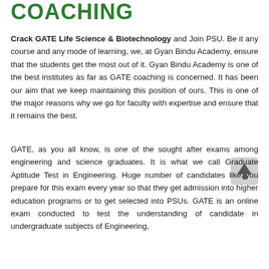COACHING
Crack GATE Life Science & Biotechnology and Join PSU. Be it any course and any mode of learning, we, at Gyan Bindu Academy, ensure that the students get the most out of it. Gyan Bindu Academy is one of the best institutes as far as GATE coaching is concerned. It has been our aim that we keep maintaining this position of ours. This is one of the major reasons why we go for faculty with expertise and ensure that it remains the best.
GATE, as you all know, is one of the sought after exams among engineering and science graduates. It is what we call Graduate Aptitude Test in Engineering. Huge number of candidates like you prepare for this exam every year so that they get admission into higher education programs or to get selected into PSUs. GATE is an online exam conducted to test the understanding of candidate in undergraduate subjects of Engineering,